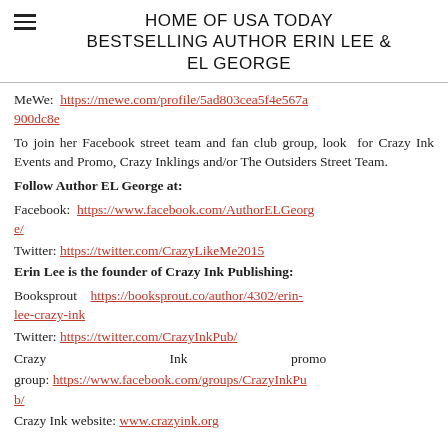HOME OF USA TODAY BESTSELLING AUTHOR ERIN LEE & EL GEORGE
MeWe: https://mewe.com/profile/5ad803cea5f4e567a900dc8e
To join her Facebook street team and fan club group, look for Crazy Ink Events and Promo, Crazy Inklings and/or The Outsiders Street Team.
Follow Author EL George at:
Facebook: https://www.facebook.com/AuthorELGeorge/
Twitter: https://twitter.com/CrazyLikeMe2015
Erin Lee is the founder of Crazy Ink Publishing:
Booksprout: https://booksprout.co/author/4302/erin-lee-crazy-ink
Twitter: https://twitter.com/CrazyInkPub/
Crazy Ink promo group: https://www.facebook.com/groups/CrazyInkPub/
Crazy Ink website: www.crazyink.org